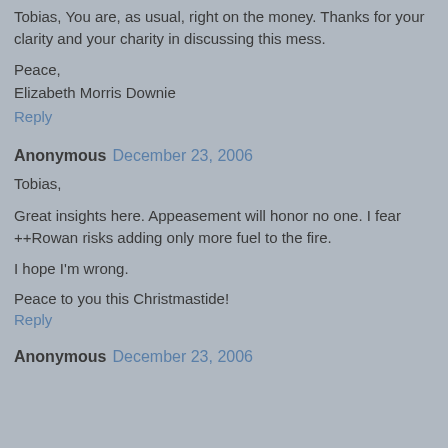Tobias, You are, as usual, right on the money. Thanks for your clarity and your charity in discussing this mess.
Peace,
Elizabeth Morris Downie
Reply
Anonymous December 23, 2006
Tobias,
Great insights here. Appeasement will honor no one. I fear ++Rowan risks adding only more fuel to the fire.
I hope I'm wrong.
Peace to you this Christmastide!
Reply
Anonymous December 23, 2006